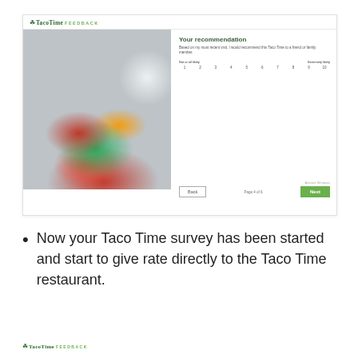[Figure (screenshot): Screenshot of Taco Time Feedback survey page showing 'Your recommendation' question with a 1-10 rating scale, a food image of a burrito and salad bowl, and Back/Next navigation buttons.]
Now your Taco Time survey has been started and start to give rate directly to the Taco Time restaurant.
[Figure (logo): Taco Time FEEDBACK logo at bottom of page]